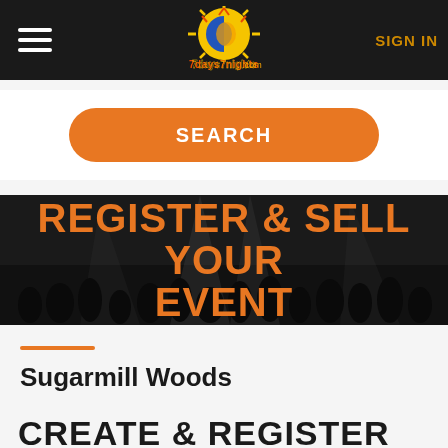7days7nights.com — SIGN IN
[Figure (screenshot): Search button: orange rounded rectangle with 'SEARCH' text in white]
[Figure (photo): Black and white crowd scene with orange overlay text 'REGISTER & SELL YOUR EVENT']
Sugarmill Woods
CREATE & REGISTER